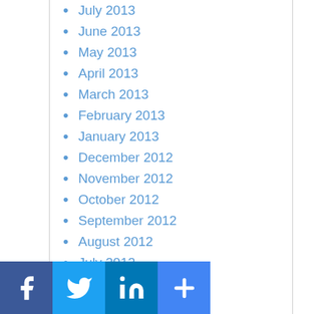July 2013
June 2013
May 2013
April 2013
March 2013
February 2013
January 2013
December 2012
November 2012
October 2012
September 2012
August 2012
July 2012
May 2012
April 2012
March 2012
February 2012
December 2011
September 2011
April 2011
February 2011
August 2010
May 2010